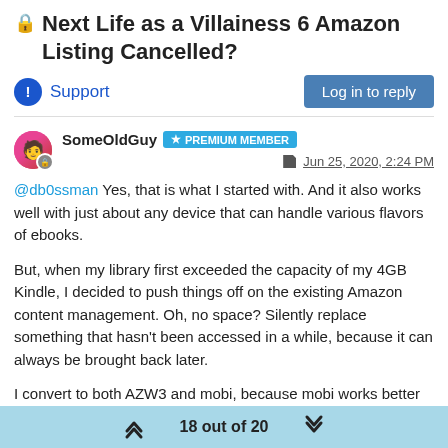🔒 Next Life as a Villainess 6 Amazon Listing Cancelled?
Support | Log in to reply
SomeOldGuy ★ PREMIUM MEMBER  Jun 25, 2020, 2:24 PM
@db0ssman Yes, that is what I started with. And it also works well with just about any device that can handle various flavors of ebooks.
But, when my library first exceeded the capacity of my 4GB Kindle, I decided to push things off on the existing Amazon content management. Oh, no space? Silently replace something that hasn't been accessed in a while, because it can always be brought back later.
I convert to both AZW3 and mobi, because mobi works better for uploading to Amazon, and AZW3 works better for direct loading to it by Calibre.
18 out of 20